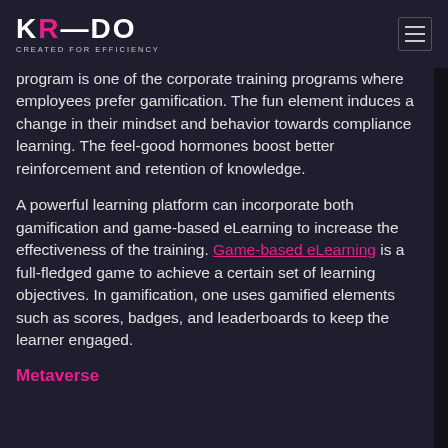KREDO — CREATED FOR EFFICIENCY
program is one of the corporate training programs where employees prefer gamification. The fun element induces a change in their mindset and behavior towards compliance learning. The feel-good hormones boost better reinforcement and retention of knowledge.
A powerful learning platform can incorporate both gamification and game-based eLearning to increase the effectiveness of the training. Game-based eLearning is a full-fledged game to achieve a certain set of learning objectives. In gamification, one uses gamified elements such as scores, badges, and leaderboards to keep the learner engaged.
Metaverse